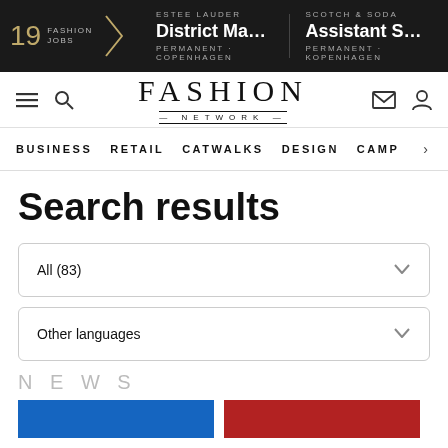[Figure (screenshot): Dark banner with fashion job listings: 19 FASHION JOBS, Estee Lauder District Manager, dk PERMANENT - COPENHAGEN, Scotch & Soda Assistant Store M... PERMANENT - KOPENHAGEN]
FASHION NETWORK navigation bar with hamburger menu, search icon, logo, envelope icon, user icon
BUSINESS  RETAIL  CATWALKS  DESIGN  CAMP >
Search results
All (83)
Other languages
NEWS
[Figure (photo): Two thumbnail images partially visible at bottom, one with blue background and one with red/dark background]